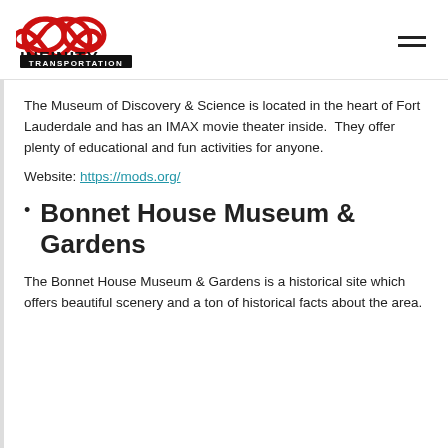INFINITY TRANSPORTATION
The Museum of Discovery & Science is located in the heart of Fort Lauderdale and has an IMAX movie theater inside.  They offer plenty of educational and fun activities for anyone.
Website: https://mods.org/
Bonnet House Museum & Gardens
The Bonnet House Museum & Gardens is a historical site which offers beautiful scenery and a ton of historical facts about the area.